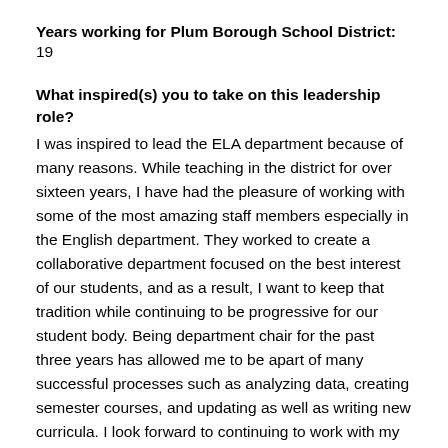Years working for Plum Borough School District: 19
What inspired(s) you to take on this leadership role?
I was inspired to lead the ELA department because of many reasons. While teaching in the district for over sixteen years, I have had the pleasure of working with some of the most amazing staff members especially in the English department. They worked to create a collaborative department focused on the best interest of our students, and as a result, I want to keep that tradition while continuing to be progressive for our student body. Being department chair for the past three years has allowed me to be apart of many successful processes such as analyzing data, creating semester courses, and updating as well as writing new curricula. I look forward to continuing to work with my department as well as with leaders from other grade levels and departments in aligning our curriculum and challenging our students to be successful, lifelong learners.